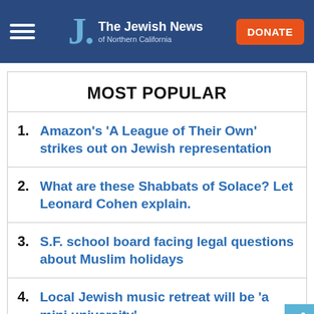The Jewish News of Northern California
MOST POPULAR
1. Amazon's 'A League of Their Own' strikes out on Jewish representation
2. What are these Shabbats of Solace? Let Leonard Cohen explain.
3. S.F. school board facing legal questions about Muslim holidays
4. Local Jewish music retreat will be 'a mini university'